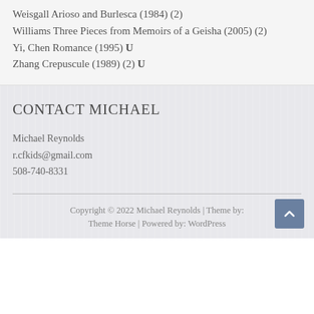Weisgall Arioso and Burlesca (1984) (2)
Williams Three Pieces from Memoirs of a Geisha (2005) (2)
Yi, Chen Romance (1995) U
Zhang Crepuscule (1989) (2) U
CONTACT MICHAEL
Michael Reynolds
r.cfkids@gmail.com
508-740-8331
Copyright © 2022 Michael Reynolds | Theme by: Theme Horse | Powered by: WordPress